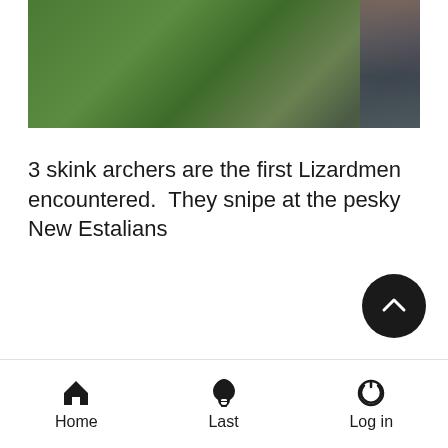[Figure (photo): A photo showing green grass/turf background with what appears to be miniature figures; partially cropped at top of page]
3 skink archers are the first Lizardmen encountered.  They snipe at the pesky New Estalians
Home  Last  Log in